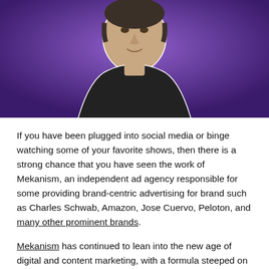[Figure (photo): A man wearing a black t-shirt with a white cutout effect against a purple/violet gradient background]
If you have been plugged into social media or binge watching some of your favorite shows, then there is a strong chance that you have seen the work of Mekanism, an independent ad agency responsible for some providing brand-centric advertising for brand such as Charles Schwab, Amazon, Jose Cuervo, Peloton, and many other prominent brands.
Mekanism has continued to lean into the new age of digital and content marketing, with a formula steeped on their two pillars of 'Soul' and 'Science'. In a digital age